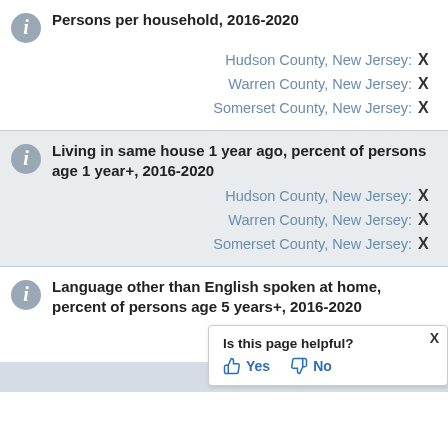Persons per household, 2016-2020
Hudson County, New Jersey: X
Warren County, New Jersey: X
Somerset County, New Jersey: X
Living in same house 1 year ago, percent of persons age 1 year+, 2016-2020
Hudson County, New Jersey: X
Warren County, New Jersey: X
Somerset County, New Jersey: X
Language other than English spoken at home, percent of persons age 5 years+, 2016-2020
Hudson County, New Jersey: X
Warren County, New Jersey: X
Somerset County, New Jersey: X
Is this page helpful? Yes No